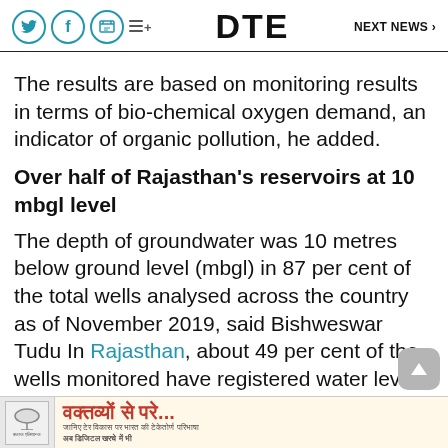DTE  NEXT NEWS >
The results are based on monitoring results in terms of bio-chemical oxygen demand, an indicator of organic pollution, he added.
Over half of Rajasthan's reservoirs at 10 mbgl level
The depth of groundwater was 10 metres below ground level (mbgl) in 87 per cent of the total wells analysed across the country as of November 2019, said Bishweswar Tudu In Rajasthan, about 49 per cent of the wells monitored have registered water level upto 10 m
[Figure (other): Advertisement banner with Hindi text: वक्तव्यों से परे... and sub-text in Hindi, with an umbrella logo]